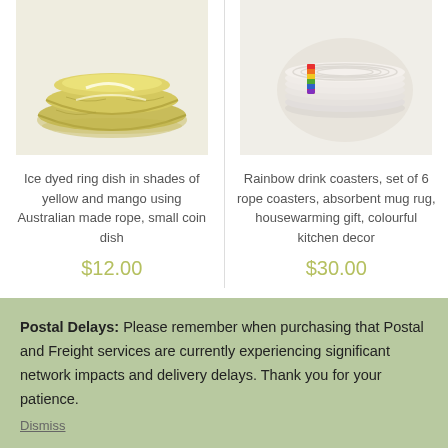[Figure (photo): Yellow and mango coloured rope bowls stacked, ice dyed ring dish on white background]
[Figure (photo): Set of 6 rope coasters/mug rugs with rainbow coloured ribbon ties, stacked on white background]
Ice dyed ring dish in shades of yellow and mango using Australian made rope, small coin dish
$12.00
Rainbow drink coasters, set of 6 rope coasters, absorbent mug rug, housewarming gift, colourful kitchen decor
$30.00
Postal Delays: Please remember when purchasing that Postal and Freight services are currently experiencing significant network impacts and delivery delays. Thank you for your patience.
Dismiss